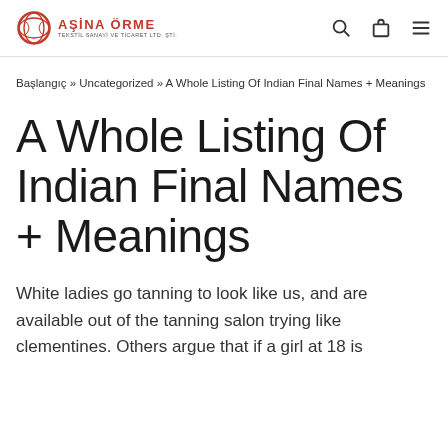AŞİNA ÖRME TEKSTİL SANAYİ ve TİCARET LTD. ŞTİ.
Başlangıç » Uncategorized » A Whole Listing Of Indian Final Names + Meanings
A Whole Listing Of Indian Final Names + Meanings
White ladies go tanning to look like us, and are available out of the tanning salon trying like clementines. Others argue that if a girl at 18 is